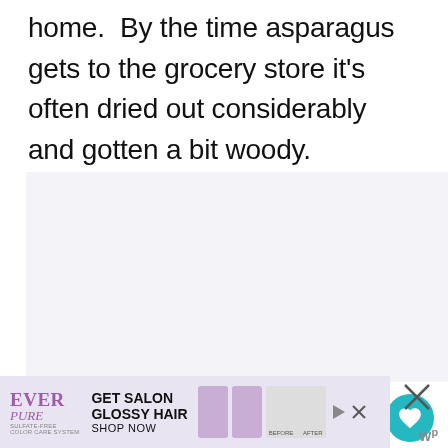home.  By the time asparagus gets to the grocery store it's often dried out considerably and gotten a bit woody.
[Figure (other): Blank/loading image area with three dots indicating loading state, heart/like button (24.5K likes), share button, and a 'What's Next' panel showing '60+ Unique Fruits & Nut...' with a thumbnail of fruits.]
[Figure (other): Advertisement banner for Ever Pure hair product: 'GET SALON GLOSSY HAIR - SHOP NOW' with before/after hair images and product tubes.]